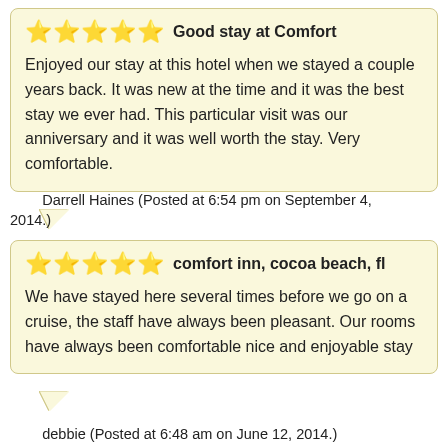Good stay at Comfort
Enjoyed our stay at this hotel when we stayed a couple years back. It was new at the time and it was the best stay we ever had. This particular visit was our anniversary and it was well worth the stay. Very comfortable.
Darrell Haines (Posted at 6:54 pm on September 4, 2014.)
comfort inn, cocoa beach, fl
We have stayed here several times before we go on a cruise, the staff have always been pleasant. Our rooms have always been comfortable nice and enjoyable stay
debbie (Posted at 6:48 am on June 12, 2014.)